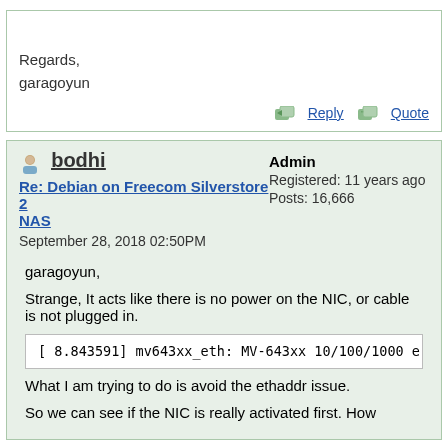Regards,
garagoyun
Reply   Quote
bodhi
Re: Debian on Freecom Silverstore 2 NAS
September 28, 2018 02:50PM
Admin
Registered: 11 years ago
Posts: 16,666
garagoyun,
Strange, It acts like there is no power on the NIC, or cable is not plugged in.
[      8.843591] mv643xx_eth: MV-643xx 10/100/1000 e
What I am trying to do is avoid the ethaddr issue.
So we can see if the NIC is really activated first. How